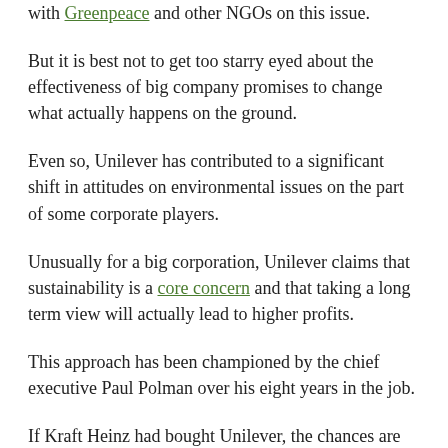with Greenpeace and other NGOs on this issue.
But it is best not to get too starry eyed about the effectiveness of big company promises to change what actually happens on the ground.
Even so, Unilever has contributed to a significant shift in attitudes on environmental issues on the part of some corporate players.
Unusually for a big corporation, Unilever claims that sustainability is a core concern and that taking a long term view will actually lead to higher profits.
This approach has been championed by the chief executive Paul Polman over his eight years in the job.
If Kraft Heinz had bought Unilever, the chances are that preserving forests would have dropped down the list of company priorities, and more generally some of the momentum for improved corporate behaviour on this issue